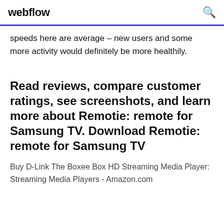webflow
speeds here are average – new users and some more activity would definitely be more healthily.
Read reviews, compare customer ratings, see screenshots, and learn more about Remotie: remote for Samsung TV. Download Remotie: remote for Samsung TV
Buy D-Link The Boxee Box HD Streaming Media Player: Streaming Media Players - Amazon.com